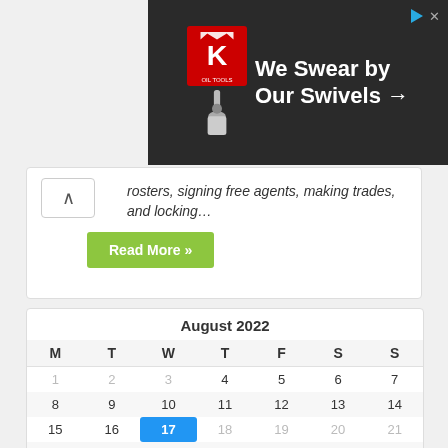[Figure (illustration): Ad banner for King Oil Tools showing logo and text 'We Swear by Our Swivels →' on dark background with a swivel tool image]
rosters, signing free agents, making trades, and locking…
Read More »
| M | T | W | T | F | S | S |
| --- | --- | --- | --- | --- | --- | --- |
| 1 | 2 | 3 | 4 | 5 | 6 | 7 |
| 8 | 9 | 10 | 11 | 12 | 13 | 14 |
| 15 | 16 | 17 | 18 | 19 | 20 | 21 |
| 22 | 23 | 24 | 25 | 26 | 27 | 28 |